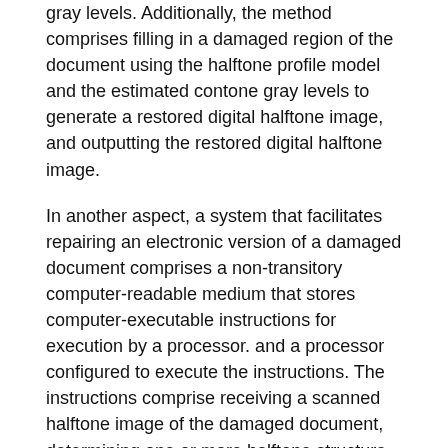gray levels. Additionally, the method comprises filling in a damaged region of the document using the halftone profile model and the estimated contone gray levels to generate a restored digital halftone image, and outputting the restored digital halftone image.
In another aspect, a system that facilitates repairing an electronic version of a damaged document comprises a non-transitory computer-readable medium that stores computer-executable instructions for execution by a processor. and a processor configured to execute the instructions. The instructions comprise receiving a scanned halftone image of the damaged document, determining one or more halftone structure parameters, estimating contone gray levels for portions of the damaged document, and identifying locations of halftone cell tiles in the damaged document and the positions of pixels within the identified tiles. The instructions further comprise building a halftone profile model that describes halftone dot growth patterns using the determined halftone parameters and estimated contone gray levels, filling in a damaged region of the document using the halftone profile model and estimated contone gray levels to generate a